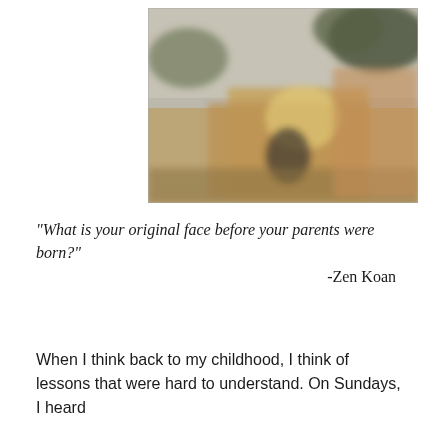[Figure (photo): A blurry outdoor photograph showing a person or child near what appears to be a haystack or farm structure, with trees and a hazy sky in the background. The image has warm, muted tones with a soft focus.]
“What is your original face before your parents were born?”

-Zen Koan
When I think back to my childhood, I think of lessons that were hard to understand. On Sundays, I heard